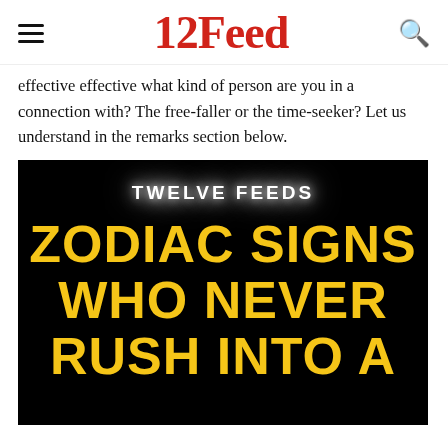12Feed
effective effective what kind of person are you in a connection with? The free-faller or the time-seeker? Let us understand in the remarks section below.
[Figure (illustration): Black background image with 'TWELVE FEEDS' text glowing in white at the top, and large bold yellow text reading 'ZODIAC SIGNS WHO NEVER RUSH INTO A']